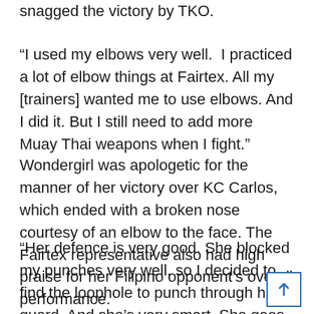snagged the victory by TKO.
“I used my elbows very well.  I practiced a lot of elbow things at Fairtex. All my [trainers] wanted me to use elbows. And I did it. But I still need to add more Muay Thai weapons when I fight.”
Wondergirl was apologetic for the manner of her victory over KC Carlos, which ended with a broken nose courtesy of an elbow to the face. The Fairtex representative also had high praise for her Filipino opponent’s overall performance.
“Her defence is very good. She blocked my punches very well, so I decided to find the loophole to punch through her guard. And she’s very smart. She goes clinching for defence.”